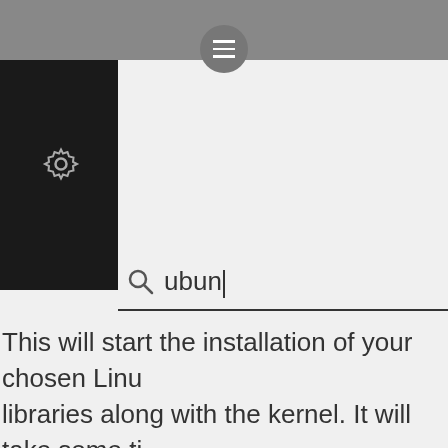[Figure (screenshot): Top navigation bar with hamburger menu icon in a circle, dark left sidebar with gear/settings icon, and a search bar showing the text 'ubun' with a cursor]
This will start the installation of your chosen Linux libraries along with the kernel. It will take some time installation and configuration (approximately 5 to on your laptop/desktop configuration).
Once installation is complete, you will be prompted account (and its password).